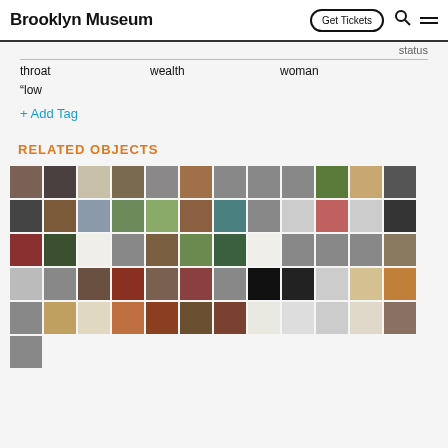Brooklyn Museum  Get Tickets
status
throat    wealth    woman
“low
+ Add Tag
RELATED OBJECTS
[Figure (photo): Grid of thumbnail images showing museum collection objects including crucifixes, portraits, architectural photos, decorative objects, manuscripts, and artifacts across approximately 60+ thumbnail images in a 12-column grid layout.]